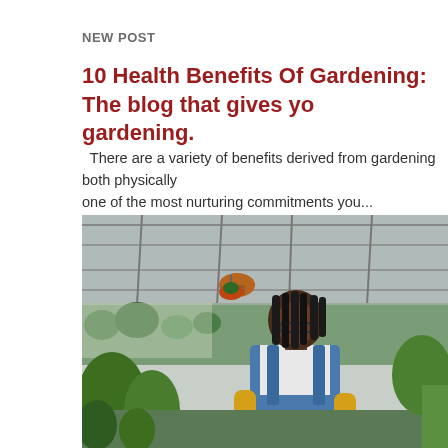NEW POST
10 Health Benefits Of Gardening: The blog that gives you gardening.
There are a variety of benefits derived from gardening both physically and mentally. It is one of the most nurturing commitments you...
[Figure (photo): A woman with dreadlocks wearing glasses, a white t-shirt and denim overalls, wearing yellow gloves, working inside a greenhouse with plants and hanging pots visible in the background.]